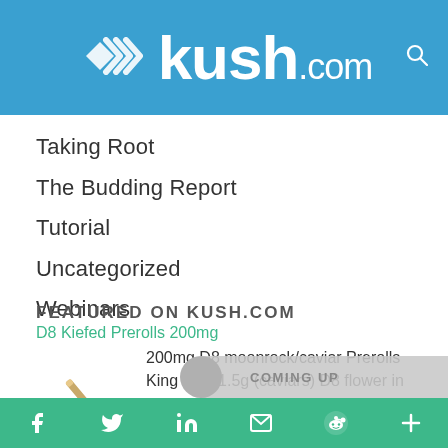kush.com
Taking Root
The Budding Report
Tutorial
Uncategorized
Webinars
FEATURED ON KUSH.COM
D8 Kiefed Prerolls 200mg
200mg D8 moonrock/caviar Prerolls King Size 1.5g (caviars) D8 flower in
[Figure (photo): Image of a preroll joint/cigarette in tan/brown color]
COMING UP
f  twitter  in  mail  reddit  +